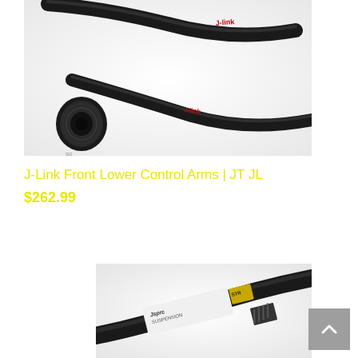[Figure (photo): Close-up photo of black J-Link front lower control arms with red J-Link branding text visible on the metal tube, showing a bushing end of the arm on a white background.]
J-Link Front Lower Control Arms | JT JL
$262.99
[Figure (photo): Close-up photo of a black Jsprc Suspension control arm with white label text and gold/yellow accent sticker, on a white background.]